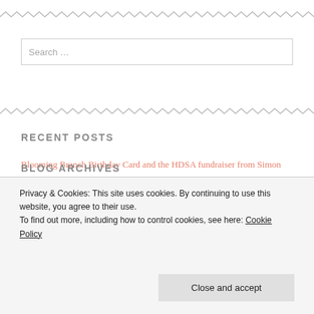[Figure (other): Zigzag decorative border at top of page]
Search ...
[Figure (other): Zigzag decorative border between search and recent posts]
RECENT POSTS
Blooming Branch Birthday Card and the HDSA fundraiser from Simon Says Stamp
Folded Doily Tutorial (for the bottom half of a wedding dress)
Tuxedo and Gown Wedding Card
Privacy & Cookies: This site uses cookies. By continuing to use this website, you agree to their use.
To find out more, including how to control cookies, see here: Cookie Policy
Close and accept
BLOG ARCHIVES